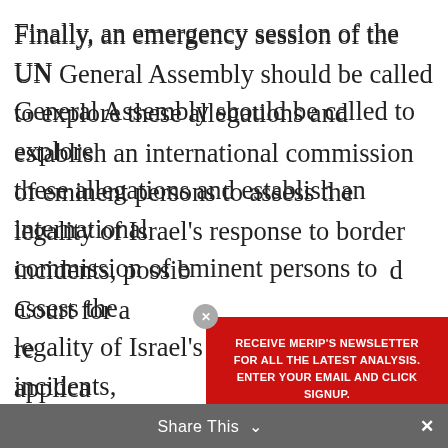Finally, an emergency session of the UN General Assembly should be called to explore these allegations and establish an international commission of eminent persons to assess the legality of Israel's response to border incidents, possibly referring it to the International Court for a review of the questions of law and the applicability of the Geneva Conventions laws of war to the conflict in southern Lebanon.
Endnotes
[1] See John Quigley and Simon Shetreet, "The Relevance of International Humanitarian Law, Palestinian Rights and International Criminal Defense... International"
[Figure (screenshot): Newsletter signup popup overlay with red background, heading 'RECEIVE MERIP'S NEWSLETTER FOR ALL THE LATEST ANALYSIS. ENTER YOUR EMAIL AND CLICK SIGNUP.', email input field, and Sign Up button]
Share This